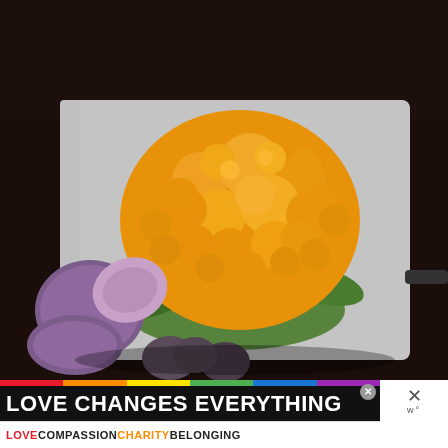[Figure (photo): A vibrant orange/yellow cauliflower head sitting on a white cutting board, surrounded by halved purple potatoes on the left and whole small purple potatoes at the bottom. The background is dark brown/black. Green leaves of the cauliflower are visible.]
LOVE CHANGES EVERYTHING
LOVE COMPASSION CHARITY BELONGING